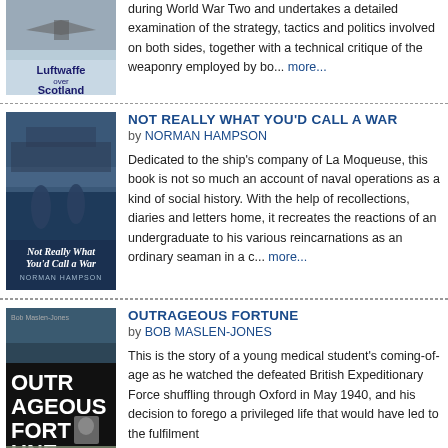[Figure (illustration): Book cover: Luftwaffe over Scotland, showing an aircraft silhouette]
during World War Two and undertakes a detailed examination of the strategy, tactics and politics involved on both sides, together with a technical critique of the weaponry employed by bo... more...
[Figure (illustration): Book cover: Not Really What You'd Call a War by Norman Hampson, blue-toned cover with naval imagery and two figures]
NOT REALLY WHAT YOU'D CALL A WAR
by NORMAN HAMPSON
Dedicated to the ship's company of La Moqueuse, this book is not so much an account of naval operations as a kind of social history. With the help of recollections, diaries and letters home, it recreates the reactions of an undergraduate to his various reincarnations as an ordinary seaman in a c... more...
[Figure (illustration): Book cover: Outrageous Fortune by Bob Maslen-Jones, dark cover with bold white title text]
OUTRAGEOUS FORTUNE
by BOB MASLEN-JONES
This is the story of a young medical student's coming-of-age as he watched the defeated British Expeditionary Force shuffling through Oxford in May 1940, and his decision to forego a privileged life that would have led to the fulfilment